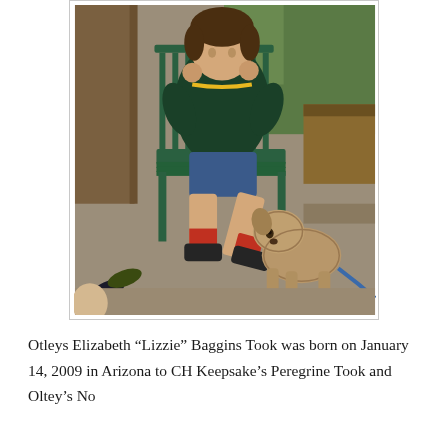[Figure (photo): A young boy sitting on a green metal chair outdoors, wearing a dark green jacket and blue shorts with red socks and dark sneakers. He is holding something small near his face. A small scruffy tan/grey dog stands on the ground looking up at the boy. Garden and wooden fence in the background.]
Otleys Elizabeth “Lizzie” Baggins Took was born on January 14, 2009 in Arizona to CH Keepsake’s Peregrine Took and Oltey’s No